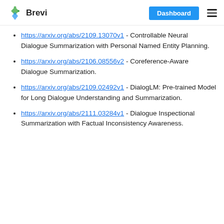Brevi | Dashboard
https://arxiv.org/abs/2109.13070v1 - Controllable Neural Dialogue Summarization with Personal Named Entity Planning.
https://arxiv.org/abs/2106.08556v2 - Coreference-Aware Dialogue Summarization.
https://arxiv.org/abs/2109.02492v1 - DialogLM: Pre-trained Model for Long Dialogue Understanding and Summarization.
https://arxiv.org/abs/2111.03284v1 - Dialogue Inspectional Summarization with Factual Inconsistency Awareness.